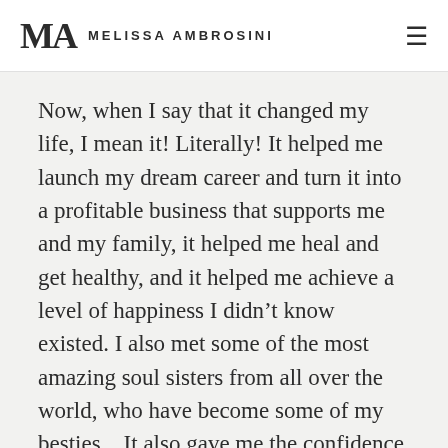MA MELISSA AMBROSINI
Now, when I say that it changed my life, I mean it! Literally! It helped me launch my dream career and turn it into a profitable business that supports me and my family, it helped me heal and get healthy, and it helped me achieve a level of happiness I didn’t know existed. I also met some of the most amazing soul sisters from all over the world, who have become some of my besties... It also gave me the confidence to call in my dream man.